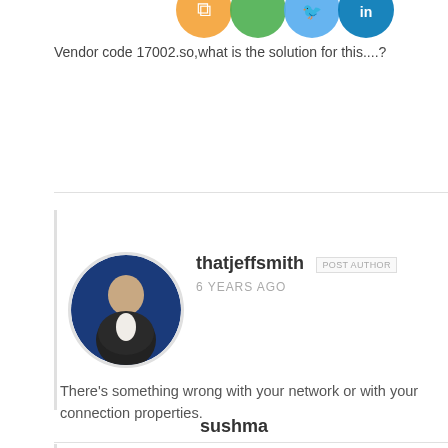[Figure (illustration): Social media share icons (RSS, Google+, Twitter, LinkedIn) partially visible at top of page]
Vendor code 17002.so,what is the solution for this....?
[Figure (photo): Circular avatar photo of thatjeffsmith - a man in a dark jacket against a blue background]
thatjeffsmith  POST AUTHOR
6 YEARS AGO
There's something wrong with your network or with your connection properties.
sushma